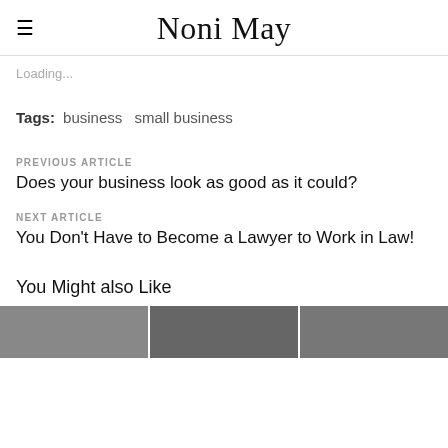Noni May
Loading...
Tags: business  small business
PREVIOUS ARTICLE
Does your business look as good as it could?
NEXT ARTICLE
You Don't Have to Become a Lawyer to Work in Law!
You Might also Like
[Figure (photo): Three thumbnail images in a row at the bottom of the page]